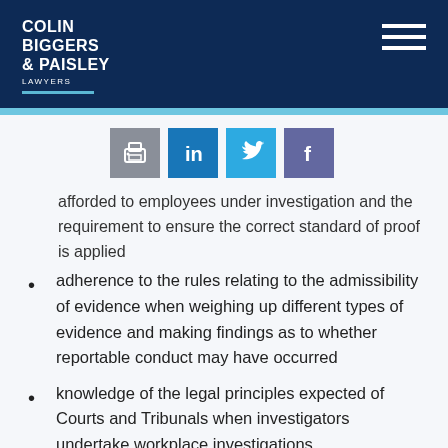COLIN BIGGERS & PAISLEY LAWYERS
[Figure (other): Social sharing icons: print, LinkedIn, Twitter, Facebook]
afforded to employees under investigation and the requirement to ensure the correct standard of proof is applied
adherence to the rules relating to the admissibility of evidence when weighing up different types of evidence and making findings as to whether reportable conduct may have occurred
knowledge of the legal principles expected of Courts and Tribunals when investigators undertake workplace investigations
internal resources and the ability to undertake a swift investigation in a timely manner